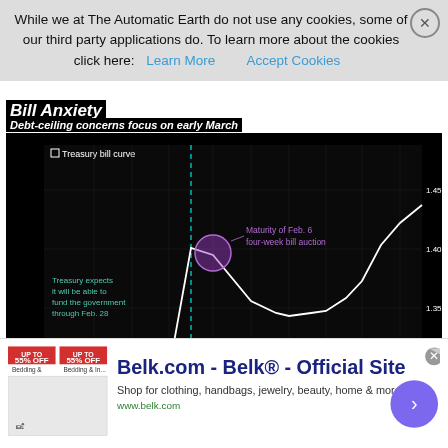While we at The Automatic Earth do not use any cookies, some of our third party applications do. To learn more about the cookies click here: Learn More  Accept Cookies
Bill Anxiety
Debt-ceiling concerns focus on early March
[Figure (continuous-plot): Bloomberg chart showing Treasury bill curve from Feb 2018 to Apr 2018. X-axis shows dates (15, 22 Feb 2018; 1, 8, 15, 22, 29 Mar 2018; 5, 12, 19, 26 Apr 2018). Y-axis shows values from 1.15 to 1.45. Line rises sharply around March 1 with annotation 'Maturity of Feb. 6 four-week bill auction' marked with purple circle. Annotation on left reads 'Treasury expects it will be able to fund the government through Feb. 28'. Source: Bloomberg.]
Read more ...
In a country where 70% of people live paycheck to paycheck, the ho...
[Figure (infographic): Belk.com advertisement banner. Belk® - Official Site. Shop for clothing, handbags, jewelry, beauty, home & more! www.belk.com. Shows promotional offers up to 55% off and bedding image.]